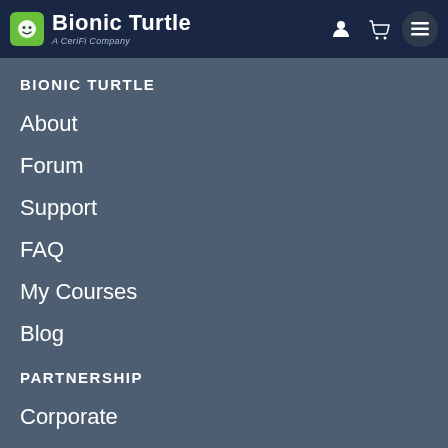Bionic Turtle — A CeriFi Company
BIONIC TURTLE
About
Forum
Support
FAQ
My Courses
Blog
PARTNERSHIP
Corporate
University
Contact Us